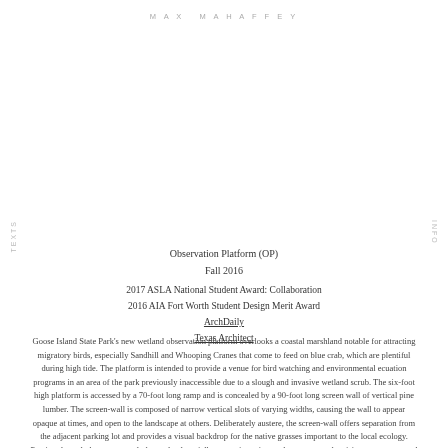MAX MAHAFFEY
Observation Platform (OP)
Fall 2016
2017 ASLA National Student Award: Collaboration
2016 AIA Fort Worth Student Design Merit Award
ArchDaily
Texas Architect
Goose Island State Park's new wetland observation platform overlooks a coastal marshland notable for attracting migratory birds, especially Sandhill and Whooping Cranes that come to feed on blue crab, which are plentiful during high tide. The platform is intended to provide a venue for bird watching and environmental ecuation programs in an area of the park previously inaccessible due to a slough and invasive wetland scrub. The six-foot high platform is accessed by a 70-foot long ramp and is concealed by a 90-foot long screen wall of vertical pine lumber. The screen-wall is composed of narrow vertical slots of varying widths, causing the wall to appear opaque at times, and open to the landscape at others. Deliberately austere, the screen-wall offers separation from the adjacent parking lot and provides a visual backdrop for the native grasses important to the local ecology. Passing through the entry portal, the wetland partially comes into view and opens up as the visitor oves up toward the observation area. Although the well asserts a vertical presence in the landscape, OP is horizontal in spirit - it